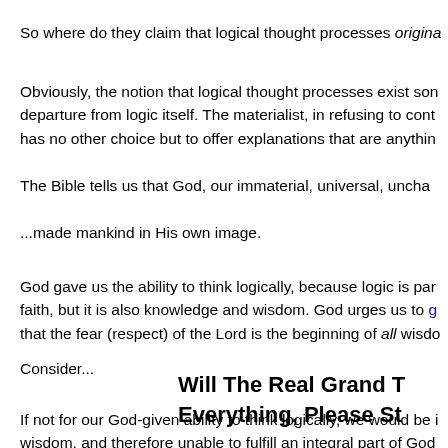So where do they claim that logical thought processes origina
Obviously, the notion that logical thought processes exist son departure from logic itself. The materialist, in refusing to cont has no other choice but to offer explanations that are anythin
The Bible tells us that God, our immaterial, universal, uncha
...made mankind in His own image.
God gave us the ability to think logically, because logic is par faith, but it is also knowledge and wisdom. God urges us to g that the fear (respect) of the Lord is the beginning of all wisdo
Consider...
If not for our God-given ability to think logically, we would be i wisdom, and therefore unable to fulfill an integral part of God
Will The Real Grand T Everything, Please St